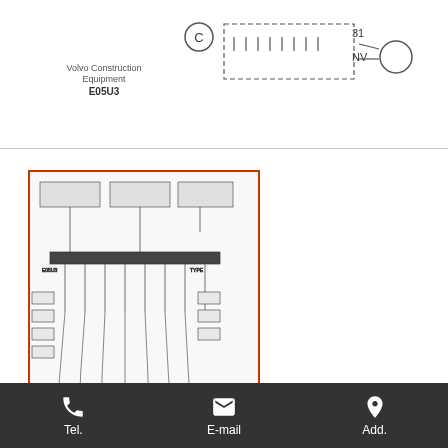[Figure (schematic): Partial wiring/connector schematic with Volvo Construction Equipment E05U3 label, showing connector C with pin numbers 31 and NV]
[Figure (schematic): Thumbnail wiring diagram for Volvo EC70 (TYPE 233) showing detailed electrical circuit schematic with multiple wire connections, highlighted with red border]
Volvo EC70(TYPE 233) PJ5910573 Tube wholesale Part Name: PJ5910573 Tube KDSORT: 190, 510 UE: U NS_SS: OP ANT1: 1 Catalog: 10015/916/600, 10013/916/1000, 10016/916/600, 10014/916/1000 Looking for Part NO.PJ5910573?We supply CUMMINS / Deutz / YANMAR / HYUNDAI / SUMITOMO / Kobelco aftermarket
Tel.   E-mail   Add.